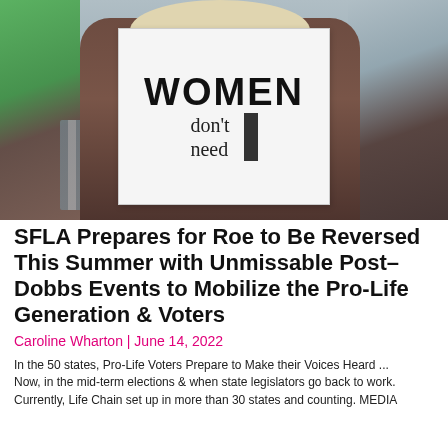[Figure (photo): Person holding a protest sign that reads 'WOMEN don't need' with a vertical bar/exclamation mark, at what appears to be a public demonstration with crowd and barriers in the background.]
SFLA Prepares for Roe to Be Reversed This Summer with Unmissable Post–Dobbs Events to Mobilize the Pro-Life Generation & Voters
Caroline Wharton | June 14, 2022
In the 50 states, Pro-Life Voters Prepare to Make their Voices Heard ...
Now, in the mid-term elections & when state legislators go back to work.
Currently, Life Chain set up in more than 30 states and counting. MEDIA